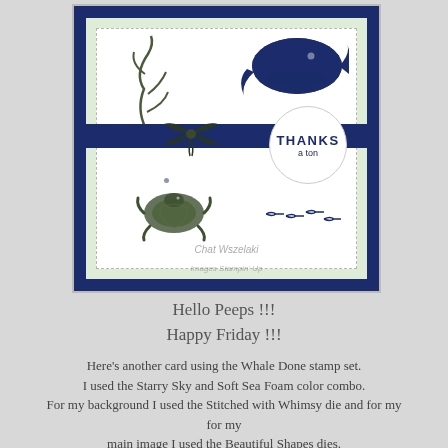[Figure (photo): A handmade greeting card featuring ocean-themed stamped images including a whale, sea turtle, seaweed, and small fish. The card uses Starry Sky (navy) and Soft Sea Foam (light green) colors. A navy ribbon with a bow crosses the middle, and a circular tag reads 'THANKS a ton'. Watermark reads 'Chat Wszelaki Images Stampin Up'.]
Hello Peeps !!!
Happy Friday !!!
Here's another card using the Whale Done stamp set. I used the Starry Sky and Soft Sea Foam color combo. For my background I used the Stitched with Whimsy die and for my main image I used the Beautiful Shapes dies. Hope you like it.